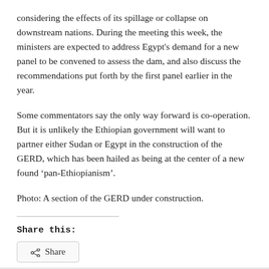considering the effects of its spillage or collapse on downstream nations. During the meeting this week, the ministers are expected to address Egypt's demand for a new panel to be convened to assess the dam, and also discuss the recommendations put forth by the first panel earlier in the year.
Some commentators say the only way forward is co-operation. But it is unlikely the Ethiopian government will want to partner either Sudan or Egypt in the construction of the GERD, which has been hailed as being at the center of a new found ‘pan-Ethiopianism’.
Photo: A section of the GERD under construction.
Share this: